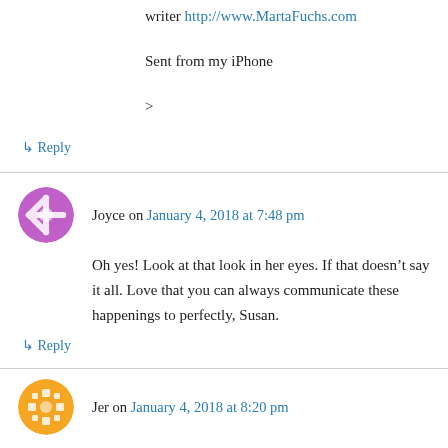writer http://www.MartaFuchs.com
Sent from my iPhone
>
↳ Reply
Joyce on January 4, 2018 at 7:48 pm
Oh yes! Look at that look in her eyes. If that doesn't say it all. Love that you can always communicate these happenings to perfectly, Susan.
↳ Reply
Jer on January 4, 2018 at 8:20 pm